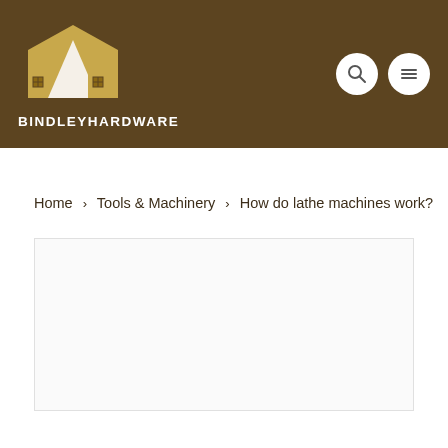[Figure (logo): Bindley Hardware logo with house/roof icon and text BINDLEYHARDWARE on brown background header]
Home › Tools & Machinery › How do lathe machines work?